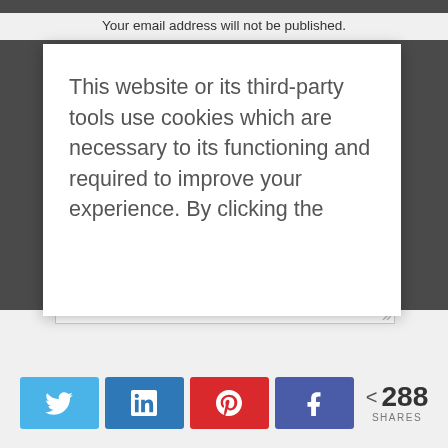Your email address will not be published.
This website or its third-party tools use cookies which are necessary to its functioning and required to improve your experience. By clicking the
[Figure (screenshot): Social sharing buttons: Twitter, LinkedIn, Pinterest, Facebook, with share count 288 SHARES]